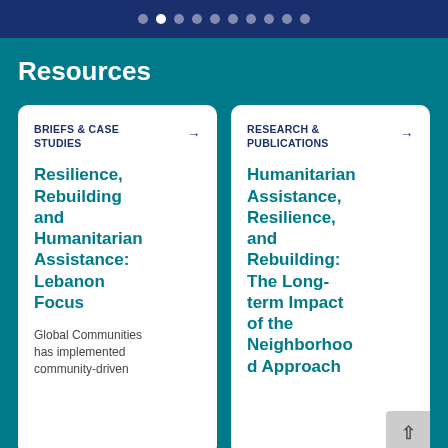• • • • • • • • • •
Resources
BRIEFS & CASE STUDIES →
Resilience, Rebuilding and Humanitarian Assistance: Lebanon Focus
Global Communities has implemented community-driven
RESEARCH & PUBLICATIONS →
Humanitarian Assistance, Resilience, and Rebuilding: The Long-term Impact of the Neighborhood Approach